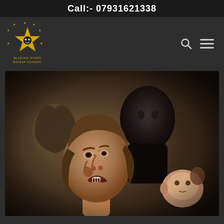Call:- 07931621338
[Figure (logo): Blazing Stars Makeup Academy star logo in gold with text]
[Figure (photo): Special effects prosthetic makeup heads and mannequins display showing zombie/monster character makeup creations]